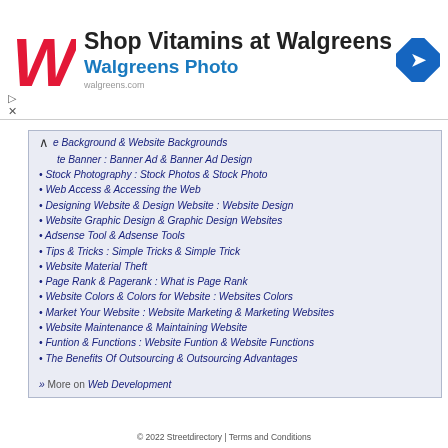[Figure (screenshot): Walgreens advertisement banner with Walgreens logo, text 'Shop Vitamins at Walgreens' and 'Walgreens Photo', and a blue navigation/direction icon]
e Background & Website Backgrounds
te Banner : Banner Ad & Banner Ad Design
Stock Photography : Stock Photos & Stock Photo
Web Access & Accessing the Web
Designing Website & Design Website : Website Design
Website Graphic Design & Graphic Design Websites
Adsense Tool & Adsense Tools
Tips & Tricks : Simple Tricks & Simple Trick
Website Material Theft
Page Rank & Pagerank : What is Page Rank
Website Colors & Colors for Website : Websites Colors
Market Your Website : Website Marketing & Marketing Websites
Website Maintenance & Maintaining Website
Funtion & Functions : Website Funtion & Website Functions
The Benefits Of Outsourcing & Outsourcing Advantages
» More on Web Development
© 2022 Streetdirectory | Terms and Conditions